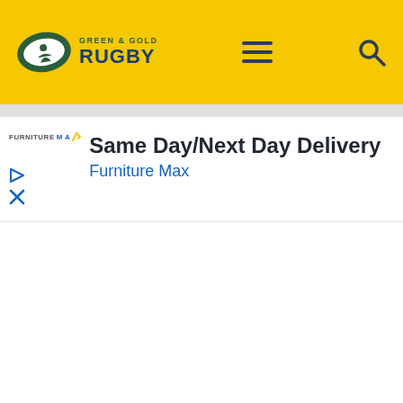Green & Gold Rugby
[Figure (screenshot): Green & Gold Rugby website header with yellow background, logo with oval shape containing a player silhouette, site name 'GREEN & GOLD RUGBY', hamburger menu icon, and search icon]
[Figure (screenshot): Advertisement banner: Furniture Max logo on left, ad headline 'Same Day/Next Day Delivery', subheading 'Furniture Max' in blue, with small play and close icons on lower left]
Same Day/Next Day Delivery
Furniture Max